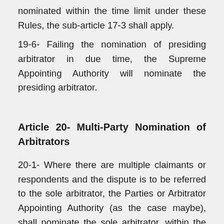nominated within the time limit under these Rules, the sub-article 17-3 shall apply.
19-6- Failing the nomination of presiding arbitrator in due time, the Supreme Appointing Authority will nominate the presiding arbitrator.
Article 20- Multi-Party Nomination of Arbitrators
20-1- Where there are multiple claimants or respondents and the dispute is to be referred to the sole arbitrator, the Parties or Arbitrator Appointing Authority (as the case maybe), shall nominate the sole arbitrator, within the period